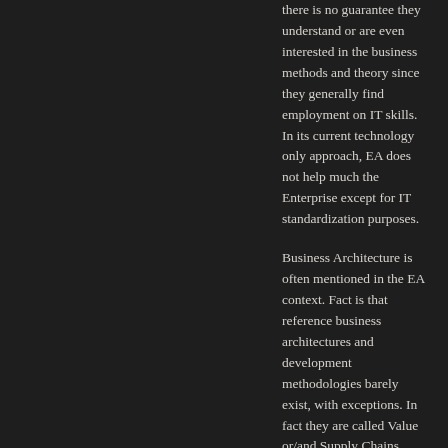there is no guarantee they understand or are even interested in the business methods and theory since they generally find employment on IT skills. In its current technology only approach, EA does not help much the Enterprise except for IT standardization purposes.
Business Architecture is often mentioned in the EA context. Fact is that reference business architectures and development methodologies barely exist, with exceptions. In fact they are called Value or/and Supply Chains (they are not the same),